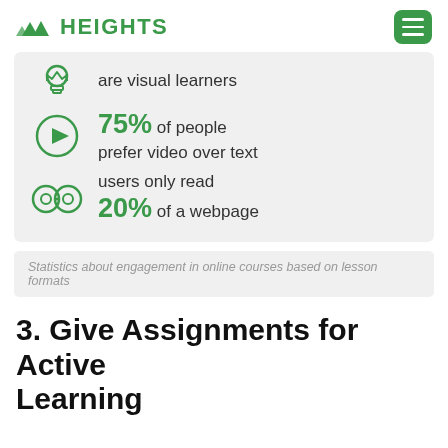HEIGHTS
[Figure (infographic): Infographic panel showing three statistics about visual learners: icon of lightbulb crown with text 'are visual learners'; play button icon with text '75% of people prefer video over text'; glasses icon with text 'users only read 20% of a webpage'.]
Statistics about engagement in online courses based on lesson formats
3. Give Assignments for Active Learning